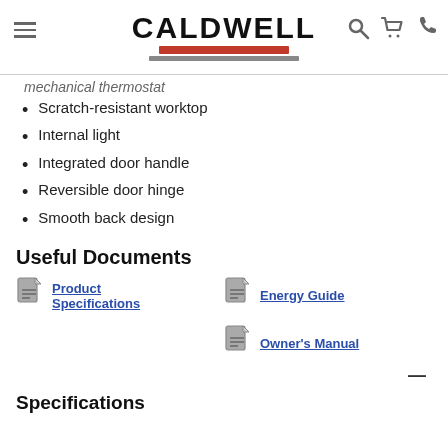CALDWELL
mechanical thermostat
Scratch-resistant worktop
Internal light
Integrated door handle
Reversible door hinge
Smooth back design
Useful Documents
[Figure (illustration): Document icon for Product Specifications link]
Product Specifications
[Figure (illustration): Document icon for Energy Guide link]
Energy Guide
[Figure (illustration): Document icon for Owner's Manual link]
Owner's Manual
Specifications